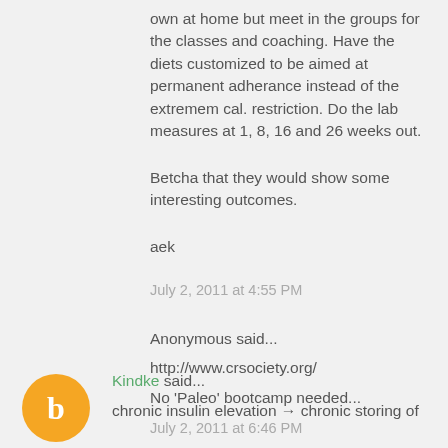own at home but meet in the groups for the classes and coaching. Have the diets customized to be aimed at permanent adherance instead of the extremem cal. restriction. Do the lab measures at 1, 8, 16 and 26 weeks out.
Betcha that they would show some interesting outcomes.
aek
July 2, 2011 at 4:55 PM
Anonymous said...
http://www.crsociety.org/
No 'Paleo' bootcamp needed...
July 2, 2011 at 6:46 PM
Kindke said...
chronic insulin elevation → chronic storing of